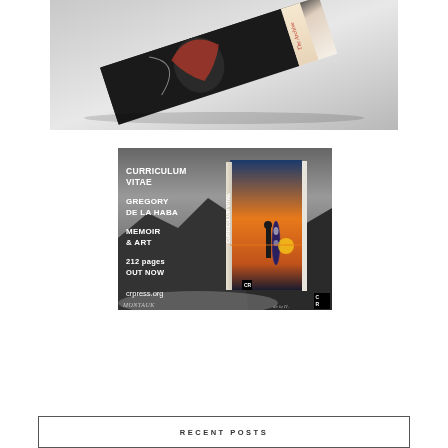[Figure (photo): A book lying at an angle on a gray surface, showing the spine text 'The Archive' in italic reddish lettering, with dark cover featuring illustrated artwork.]
[Figure (illustration): Advertisement for 'Curriculum Vitae' by Gregory De La Haba. Dark grayscale background with mountain/coastal landscape. White bold text reads: CURRICULUM VITAE / GREGORY DE LA HABA / MEMOIR & ART / 212 pages OUT NOW / crpress.org. On the right side, a book mockup with sunset/surf scene cover. CR logo in bottom right corner. 'Montauk' written at bottom in handwriting.]
RECENT POSTS